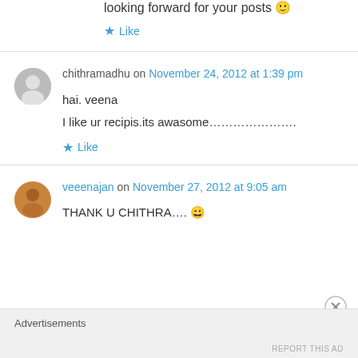looking forward for your posts 🙂
★ Like
chithramadhu on November 24, 2012 at 1:39 pm
hai. veena
I like ur recipis.its awasome…………………
★ Like
veeenajan on November 27, 2012 at 9:05 am
THANK U CHITHRA…. 🙂
Advertisements